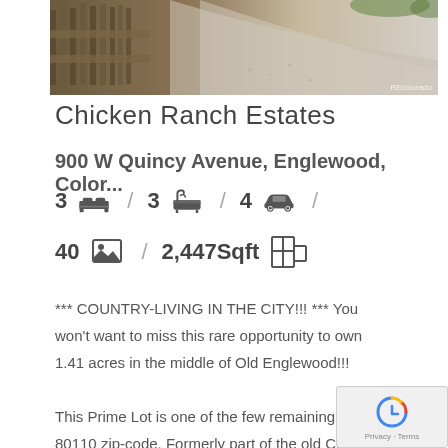[Figure (photo): Exterior photo of wooden fence along a dirt path at Chicken Ranch Estates, with watermark REcolorado]
Chicken Ranch Estates
900 W Quincy Avenue, Englewood, Color...
3 [bed icon] / 3 [bath icon] / 4 [car icon] / 40 [photo icon] / 2,447Sqft [floor plan icon]
*** COUNTRY-LIVING IN THE CITY!!! *** You won't want to miss this rare opportunity to own 1.41 acres in the middle of Old Englewood!!! This Prime Lot is one of the few remaining in the 80110 zip-code. Formerly part of the old Chicken Ranch Estates, this awesome property